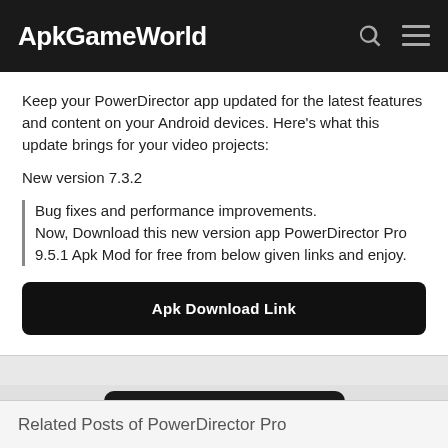ApkGameWorld
Keep your PowerDirector app updated for the latest features and content on your Android devices. Here's what this update brings for your video projects:
New version 7.3.2
Bug fixes and performance improvements.
Now, Download this new version app PowerDirector Pro 9.5.1 Apk Mod for free from below given links and enjoy.
Apk Download Link
Download APK
Related Posts of PowerDirector Pro